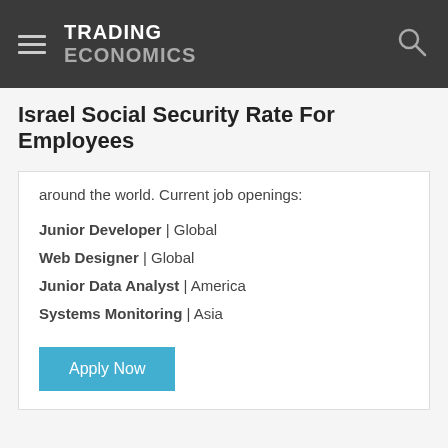TRADING ECONOMICS
Israel Social Security Rate For Employees
around the world. Current job openings:
Junior Developer | Global
Web Designer | Global
Junior Data Analyst | America
Systems Monitoring | Asia
Apply Now